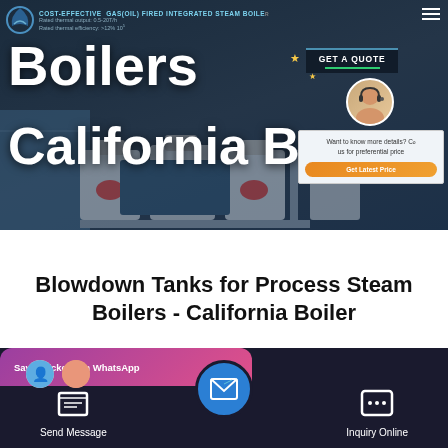[Figure (screenshot): Website hero banner for California Boiler showing industrial boiler equipment with text overlays including COST-EFFECTIVE and Gas(Oil) Fired Integrated Steam Boiler, with a GET A QUOTE button and a chat popup]
Blowdown Tanks for Process Steam Boilers - California Boiler
[Figure (screenshot): Mobile app bottom navigation bar with Send Message and Inquiry Online buttons, a centered blue email/message circle button, and a WhatsApp sticker saver popup]